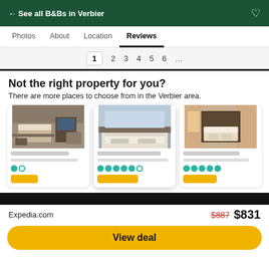← See all B&Bs in Verbier
Photos   About   Location   Reviews
1  2  3  4  5  6  ...
Not the right property for you?
There are more places to choose from in the Verbier area.
[Figure (photo): Three hotel room photos shown as property cards with star ratings and price buttons]
Expedia.com   $887  $831
View deal